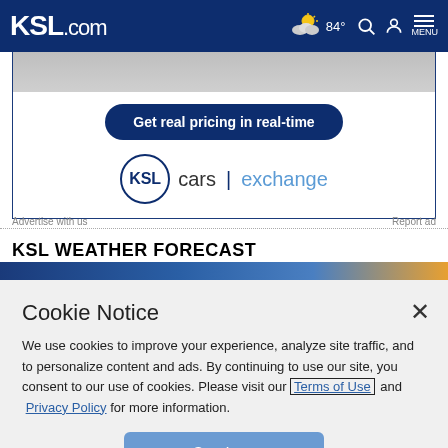KSL.com — navigation bar with weather 84°, search, account, and menu icons
[Figure (screenshot): Advertisement for KSL Cars Exchange: partial image of money/car at top, dark navy button 'Get real pricing in real-time', KSL Cars | exchange logo with circle KSL icon]
Advertise with us    Report ad
KSL WEATHER FORECAST
[Figure (screenshot): Partial KSL weather forecast image strip in dark blue/orange gradient]
Cookie Notice
We use cookies to improve your experience, analyze site traffic, and to personalize content and ads. By continuing to use our site, you consent to our use of cookies. Please visit our Terms of Use and  Privacy Policy for more information.
Continue